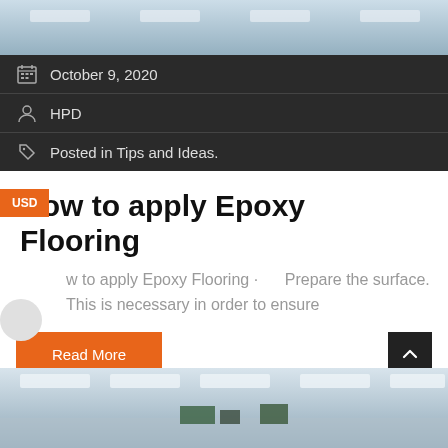[Figure (photo): Interior warehouse or industrial building photo, light blue-grey tones]
October 9, 2020
HPD
Posted in Tips and Ideas.
How to apply Epoxy Flooring
w to apply Epoxy Flooring · Prepare the surface. This is necessary in order to ensure
Read More
[Figure (photo): Interior of a large industrial warehouse with overhead lighting]